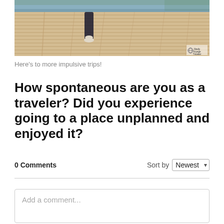[Figure (photo): Person walking on a wooden deck/boardwalk near water, with a small watermark logo in the bottom right corner. The deck has horizontal wooden planks, and the background shows trees and water.]
Here's to more impulsive trips!
How spontaneous are you as a traveler? Did you experience going to a place unplanned and enjoyed it?
0 Comments
Sort by Newest
Add a comment...